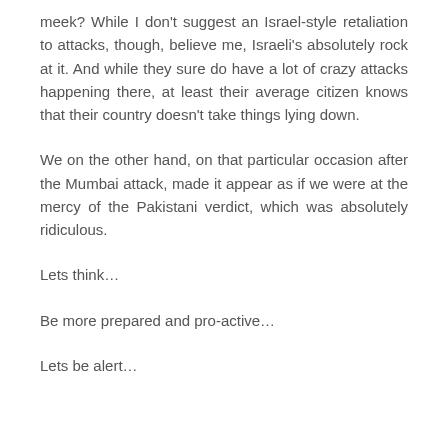meek? While I don't suggest an Israel-style retaliation to attacks, though, believe me, Israeli's absolutely rock at it. And while they sure do have a lot of crazy attacks happening there, at least their average citizen knows that their country doesn't take things lying down.
We on the other hand, on that particular occasion after the Mumbai attack, made it appear as if we were at the mercy of the Pakistani verdict, which was absolutely ridiculous.
Lets think…
Be more prepared and pro-active…
Lets be alert…